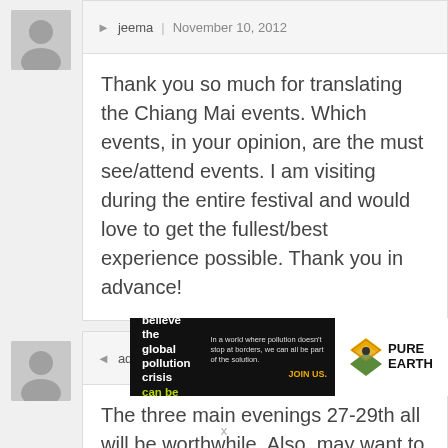Thank you so much for translating the Chiang Mai events. Which events, in your opinion, are the must see/attend events. I am visiting during the entire festival and would love to get the fullest/best experience possible. Thank you in advance!
admin | November 16, 2012
The three main evenings 27-29th all will be worthwhile. Also, may want to attend some Buddhist events at the temples during the day.
[Figure (infographic): Pure Earth advertisement banner: 'We believe the global pollution crisis can be solved.' with JOIN US call to action and Pure Earth logo]